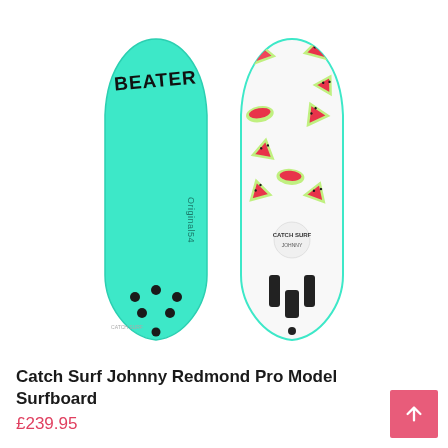[Figure (photo): Two surfboards shown side by side. Left board is solid mint/teal color with 'BEATER' text in black at the top and 'Original54' text vertically along the side, with fin plug holes visible at the bottom. Right board is white with a colorful watermelon slice pattern all over it, with fin boxes and a logo visible near the bottom.]
Catch Surf Johnny Redmond Pro Model Surfboard
£239.95